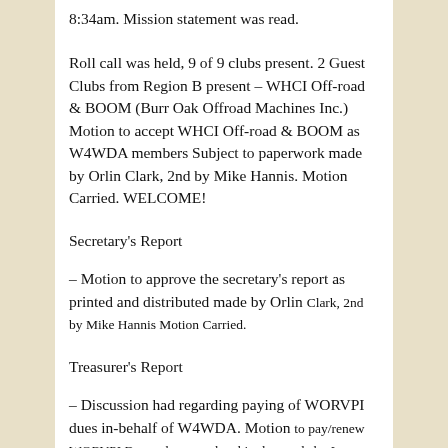8:34am. Mission statement was read.
Roll call was held, 9 of 9 clubs present. 2 Guest Clubs from Region B present – WHCI Off-road & BOOM (Burr Oak Offroad Machines Inc.) Motion to accept WHCI Off-road & BOOM as W4WDA members Subject to paperwork made by Orlin Clark, 2nd by Mike Hannis. Motion Carried. WELCOME!
Secretary's Report
– Motion to approve the secretary's report as printed and distributed made by Orlin Clark, 2nd by Mike Hannis Motion Carried.
Treasurer's Report
– Discussion had regarding paying of WORVPI dues in-behalf of W4WDA. Motion to pay/renew WORVPI Dues when membership due made by Luana Schneider, 2nd by Helen Warren. Motion Carried. Motio